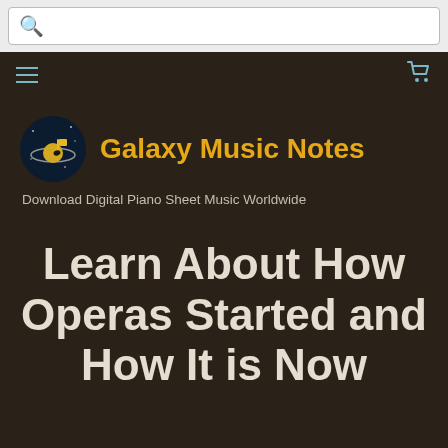Search bar
Navigation bar with hamburger menu and cart icon
[Figure (logo): Galaxy Music Notes logo: circular dark navy badge with a planet/music note graphic in gold and white]
Galaxy Music Notes
Download Digital Piano Sheet Music Worldwide
Learn About How Operas Started and How It is Now